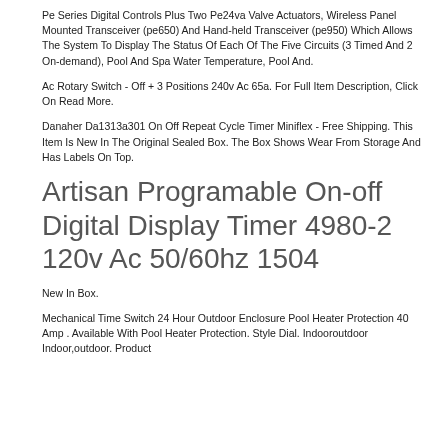Pe Series Digital Controls Plus Two Pe24va Valve Actuators, Wireless Panel Mounted Transceiver (pe650) And Hand-held Transceiver (pe950) Which Allows The System To Display The Status Of Each Of The Five Circuits (3 Timed And 2 On-demand), Pool And Spa Water Temperature, Pool And.
Ac Rotary Switch - Off + 3 Positions 240v Ac 65a. For Full Item Description, Click On Read More.
Danaher Da1313a301 On Off Repeat Cycle Timer Miniflex - Free Shipping. This Item Is New In The Original Sealed Box. The Box Shows Wear From Storage And Has Labels On Top.
Artisan Programable On-off Digital Display Timer 4980-2 120v Ac 50/60hz 1504
New In Box.
Mechanical Time Switch 24 Hour Outdoor Enclosure Pool Heater Protection 40 Amp . Available With Pool Heater Protection. Style Dial. Indooroutdoor Indoor,outdoor. Product